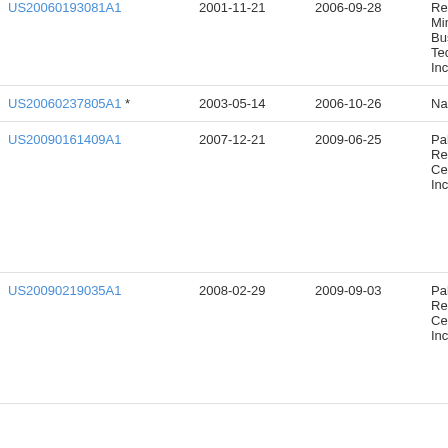| Publication number | Priority date | Publication date | Assignee |
| --- | --- | --- | --- |
| US20060193081A1 * | 2001-11-21 | 2006-09-28 | Res... Min... Bus... Tec... Inc... |
| US20060237805A1 * | 2003-05-14 | 2006-10-26 | Na... |
| US20090161409A1 | 2007-12-21 | 2009-06-25 | Pal... Res... Cen... Inc... |
| US20090219035A1 | 2008-02-29 | 2009-09-03 | Pal... Res... Cen... Inc... |